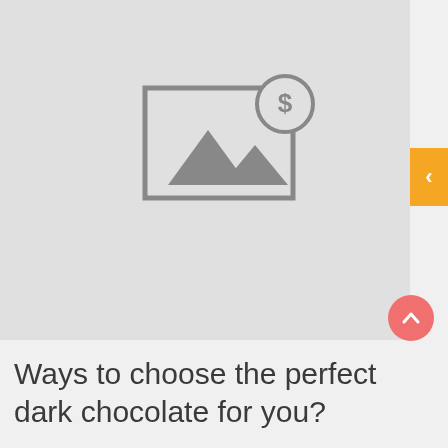[Figure (illustration): Placeholder image icon showing mountain silhouettes inside a rectangle frame with a dollar coin badge in the upper right corner, on a light gray background]
Ways to choose the perfect dark chocolate for you?